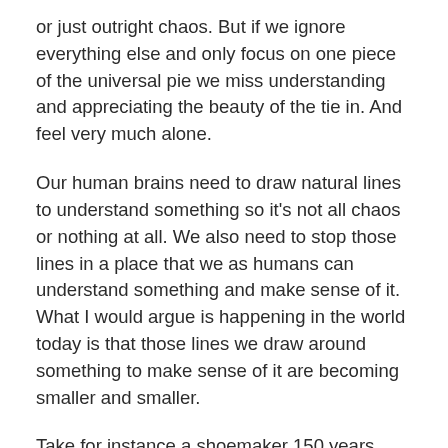or just outright chaos. But if we ignore everything else and only focus on one piece of the universal pie we miss understanding and appreciating the beauty of the tie in. And feel very much alone.
Our human brains need to draw natural lines to understand something so it's not all chaos or nothing at all. We also need to stop those lines in a place that we as humans can understand something and make sense of it. What I would argue is happening in the world today is that those lines we draw around something to make sense of it are becoming smaller and smaller.
Take for instance a shoemaker 150 years ago. He had a little shop in the heart of a town. People who lived in that town acquired their shoes there. The shoemaker knew his customers well. Everyone had a role in the town's functioning and everyone supported everyone else to keep that town running through trade, bartering or